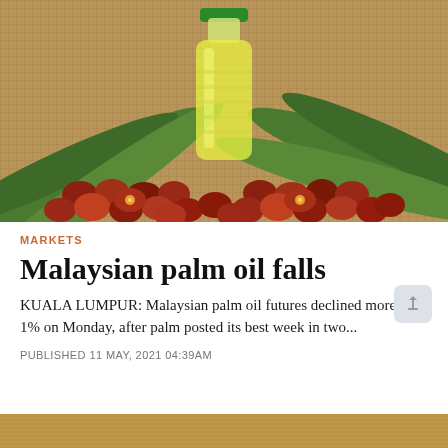[Figure (photo): Palm oil fruits (red/brown drupes) piled on green palm leaves with a clear bottle of palm oil in the background, on a burlap surface]
MARKETS
Malaysian palm oil falls
KUALA LUMPUR: Malaysian palm oil futures declined more than 1% on Monday, after palm posted its best week in two...
PUBLISHED 11 MAY, 2021 04:39AM
[Figure (photo): Bottom strip showing a partial image with warm golden/brown tones]